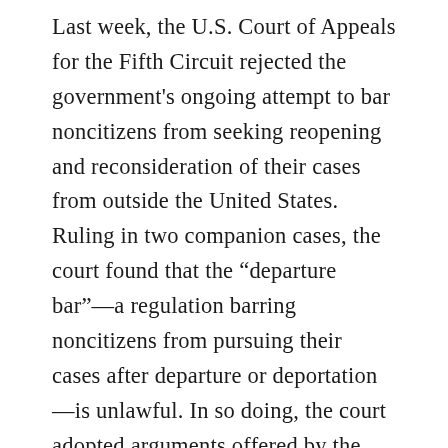Last week, the U.S. Court of Appeals for the Fifth Circuit rejected the government's ongoing attempt to bar noncitizens from seeking reopening and reconsideration of their cases from outside the United States. Ruling in two companion cases, the court found that the “departure bar”—a regulation barring noncitizens from pursuing their cases after departure or deportation—is unlawful. In so doing, the court adopted arguments offered by the American Immigration Council's Legal Action Center (LAC) and the National Immigration Project of the National Lawyers Guild (NIPNLG) in an amicus brief to the court. These decisions